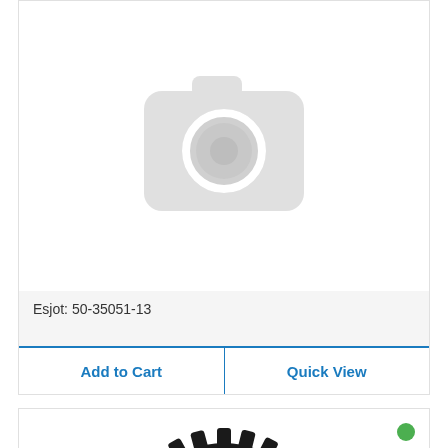[Figure (photo): Product image placeholder with camera icon on light gray background]
Esjot: 50-35051-13
$37.95
Add to Cart
Quick View
[Figure (photo): Bicycle chain sprocket/chainring, black, photographed on white background with green availability dot in top right corner]